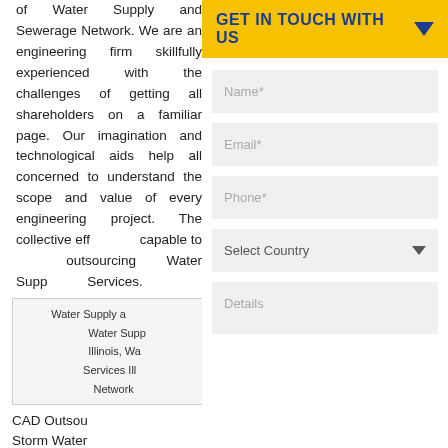of Water Supply and Sewerage Network. We are an engineering firm skillfully experienced with the challenges of getting all shareholders on a familiar page. Our imagination and technological aids help all concerned to understand the scope and value of every engineering project. The collective eff... capable to... outsourcing... Water Supp... Services.
| Water Supply a... |
| Water Supp... |
| Illinois, Wa... |
| Services Ill... |
| Network... |
Storm Wa
CAD Outsou...
Storm Water
[Figure (screenshot): GET IN TOUCH WITH US contact form panel with fields for Name*, Email*, Phone*, Select Country dropdown, and Details textarea on yellow header background]
GET IN TOUCH WITH US
Name*
Email*
Phone*
Select Country
Details